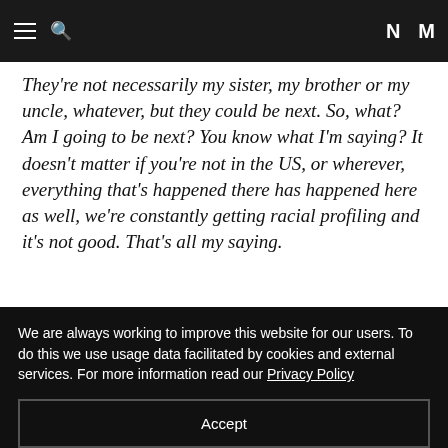Navigation header with hamburger menu, search icon, and NM logo
They're not necessarily my sister, my brother or my uncle, whatever, but they could be next. So, what? Am I going to be next? You know what I'm saying? It doesn't matter if you're not in the US, or wherever, everything that's happened there has happened here as well, we're constantly getting racial profiling and it's not good. That's all my saying.
Amongst the protestors, there was simply a greater sense of urgency regarding the social epidemic of racism than, you know, the biological one. But there was also a simmering
We are always working to improve this website for our users. To do this we use usage data facilitated by cookies and external services. For more information read our Privacy Policy
Accept